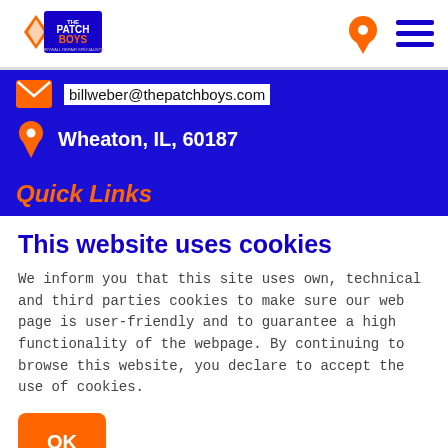[Figure (logo): The Patch Boys logo - orange and blue logo with text]
[Figure (other): Orange map pin icon and navy blue hamburger menu icon in header]
billweber@thepatchboys.com
Wheaton, IL, 60187
Quick Links
This website uses cookies
We inform you that this site uses own, technical and third parties cookies to make sure our web page is user-friendly and to guarantee a high functionality of the webpage. By continuing to browse this website, you declare to accept the use of cookies.
OK